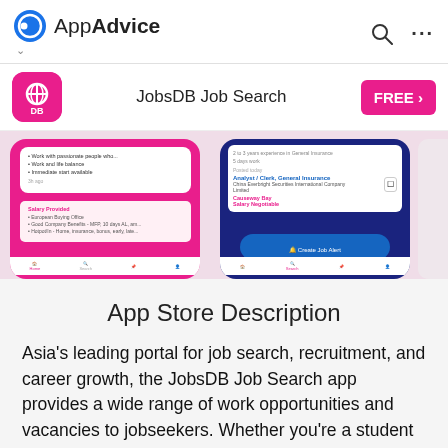AppAdvice
JobsDB Job Search
[Figure (screenshot): App store listing screenshots showing JobsDB Job Search app interface with job listings, including positions like Analyst/Clerk General Insurance with salary negotiable label and Create Job Alert button]
App Store Description
Asia's leading portal for job search, recruitment, and career growth, the JobsDB Job Search app provides a wide range of work opportunities and vacancies to jobseekers. Whether you're a student who's nearing